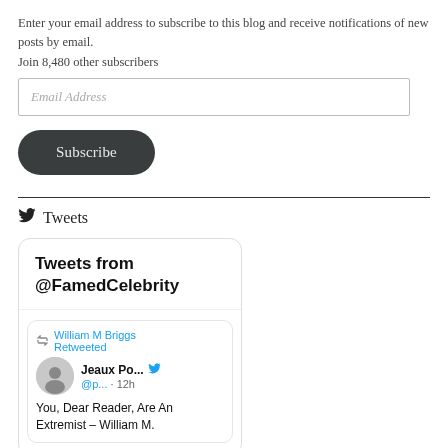Enter your email address to subscribe to this blog and receive notifications of new posts by email.
Join 8,480 other subscribers
[Figure (screenshot): Email address input field with placeholder text 'Email Address']
[Figure (screenshot): Subscribe button with dark rounded rectangle background]
Tweets
[Figure (screenshot): Twitter widget showing 'Tweets from @FamedCelebrity' with a retweet by William M Briggs Retweeted, from Jeaux Po... @p... · 12h, text: You, Dear Reader, Are An Extremist – William M.]